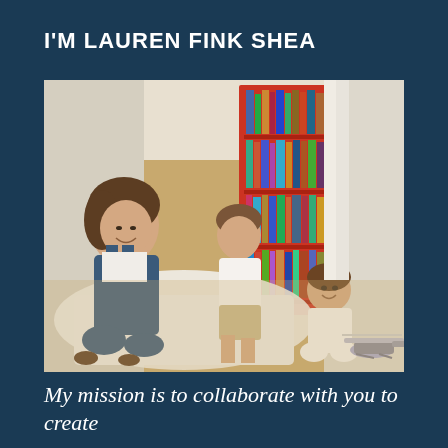I'M LAUREN FINK SHEA
[Figure (photo): A woman in denim overalls sits on a white rug on a hardwood floor smiling, while a boy in white shirt and khaki shorts crouches nearby, and a toddler in a white outfit sits on the floor playing with a toy helicopter. A red bookshelf filled with colorful books is visible in the background.]
My mission is to collaborate with you to create